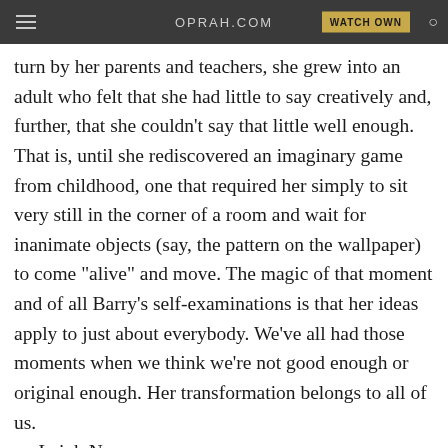OPRAH.COM | WATCH OWN
turn by her parents and teachers, she grew into an adult who felt that she had little to say creatively and, further, that she couldn't say that little well enough. That is, until she rediscovered an imaginary game from childhood, one that required her simply to sit very still in the corner of a room and wait for inanimate objects (say, the pattern on the wallpaper) to come "alive" and move. The magic of that moment and of all Barry's self-examinations is that her ideas apply to just about everybody. We've all had those moments when we think we're not good enough or original enough. Her transformation belongs to all of us.
— Leigh Newman